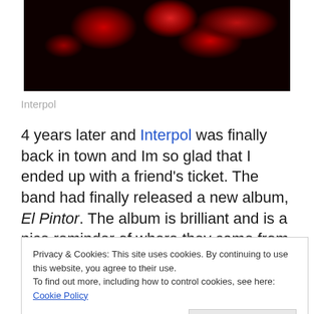[Figure (photo): Concert photo with red stage lights on dark background, partially cropped at top]
Interpol
4 years later and Interpol was finally back in town and Im so glad that I ended up with a friend's ticket. The band had finally released a new album, El Pintor. The album is brilliant and is a nice reminder of where they came from having a very similar sound to Turn On The Bright Lights. Sure, theres no Carlos D(engler) and the sound had to change some but its distinctly Interpol.
Privacy & Cookies: This site uses cookies. By continuing to use this website, you agree to their use.
To find out more, including how to control cookies, see here: Cookie Policy
[Close and accept]
were haunting over the lush guitars swirling in the